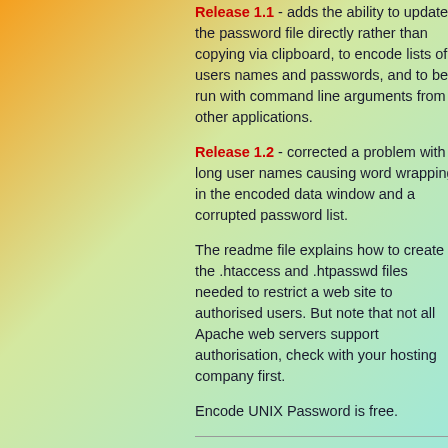Release 1.1 - adds the ability to update the password file directly rather than copying via clipboard, to encode lists of users names and passwords, and to be run with command line arguments from other applications.
Release 1.2 - corrected a problem with long user names causing word wrapping in the encoded data window and a corrupted password list.
The readme file explains how to create the .htaccess and .htpasswd files needed to restrict a web site to authorised users. But note that not all Apache web servers support authorisation, check with your hosting company first.
Encode UNIX Password is free.
Magenta Systems Ltd, 9 Vincent Road, Croydon, CR0 6ED, United Kingdom Phone 020 8656 3636, International Phone +44 20 8656 3636 https://www.magsys.co.uk/ Copyright © 2022 Magenta Systems Ltd, England. All Rights Reserved.